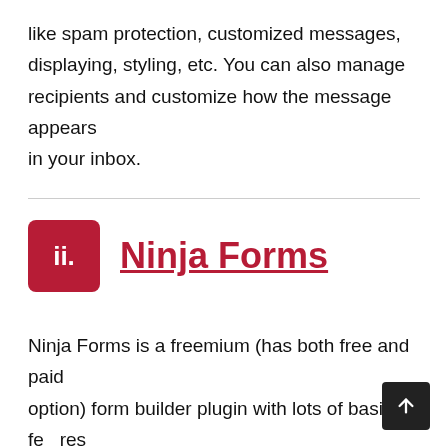like spam protection, customized messages, displaying, styling, etc. You can also manage recipients and customize how the message appears in your inbox.
ii. Ninja Forms
Ninja Forms is a freemium (has both free and paid option) form builder plugin with lots of basic features in the free version and a lot more in the premium. Like WPForms, it also has an intuitive and drag and